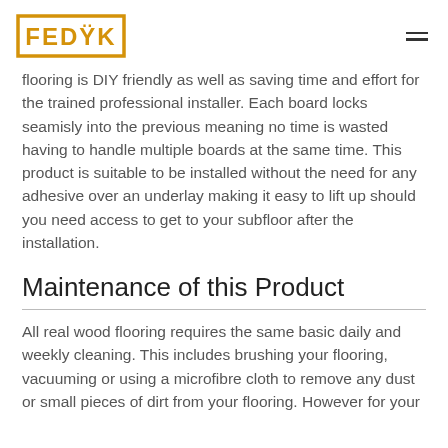FEDYK
flooring is DIY friendly as well as saving time and effort for the trained professional installer. Each board locks seamisly into the previous meaning no time is wasted having to handle multiple boards at the same time. This product is suitable to be installed without the need for any adhesive over an underlay making it easy to lift up should you need access to get to your subfloor after the installation.
Maintenance of this Product
All real wood flooring requires the same basic daily and weekly cleaning. This includes brushing your flooring, vacuuming or using a microfibre cloth to remove any dust or small pieces of dirt from your flooring. However for your